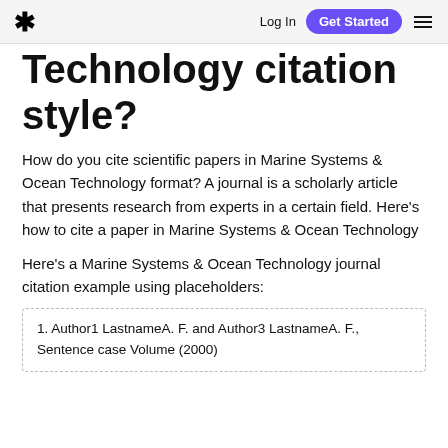Log In  Get Started  ☰
Technology citation style?
How do you cite scientific papers in Marine Systems & Ocean Technology format? A journal is a scholarly article that presents research from experts in a certain field. Here's how to cite a paper in Marine Systems & Ocean Technology
Here's a Marine Systems & Ocean Technology journal citation example using placeholders:
1. Author1 LastnameA. F. and Author3 LastnameA. F., Sentence case Volume (2000)